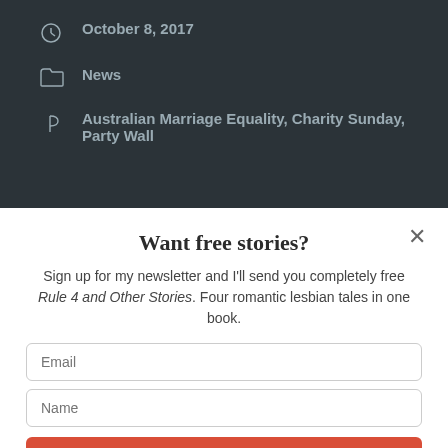October 8, 2017
News
Australian Marriage Equality, Charity Sunday, Party Wall
Want free stories?
Sign up for my newsletter and I'll send you completely free Rule 4 and Other Stories. Four romantic lesbian tales in one book.
Email
Name
SUBSCRIBE